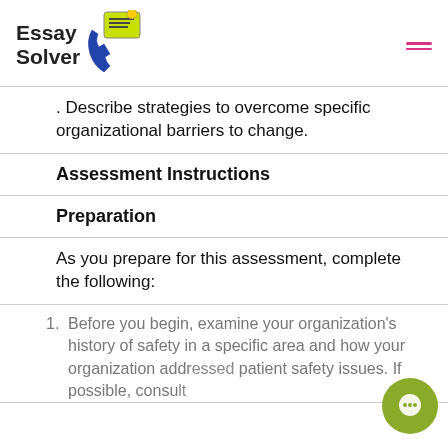Essay Solver
. Describe strategies to overcome specific organizational barriers to change.
Assessment Instructions
Preparation
As you prepare for this assessment, complete the following:
1. Before you begin, examine your organization's history of safety in a specific area and how your organization addressed patient safety issues. If possible, consult…